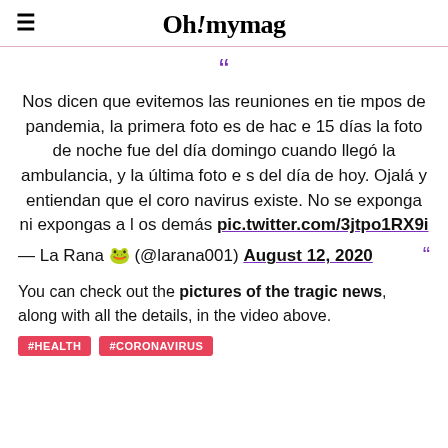Oh! mymag
Nos dicen que evitemos las reuniones en tiempos de pandemia, la primera foto es de hace 15 días la foto de noche fue del día domingo cuando llegó la ambulancia, y la última foto es del día de hoy. Ojalá y entiendan que el coronavirus existe. No se exponga ni expongas a los demás pic.twitter.com/3jtpo1RX9i
— La Rana 🐸 (@larana001) August 12, 2020
You can check out the pictures of the tragic news, along with all the details, in the video above.
#HEALTH #CORONAVIRUS